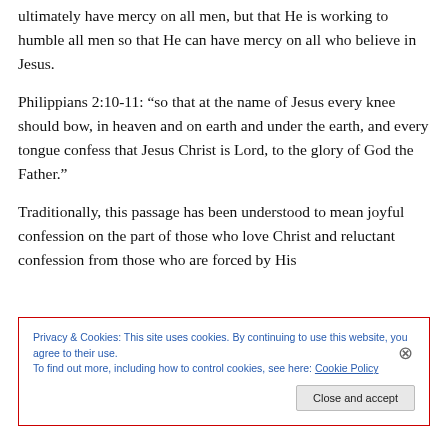ultimately have mercy on all men, but that He is working to humble all men so that He can have mercy on all who believe in Jesus.
Philippians 2:10-11: “so that at the name of Jesus every knee should bow, in heaven and on earth and under the earth, and every tongue confess that Jesus Christ is Lord, to the glory of God the Father.”
Traditionally, this passage has been understood to mean joyful confession on the part of those who love Christ and reluctant confession from those who are forced by His
Privacy & Cookies: This site uses cookies. By continuing to use this website, you agree to their use.
To find out more, including how to control cookies, see here: Cookie Policy
Close and accept